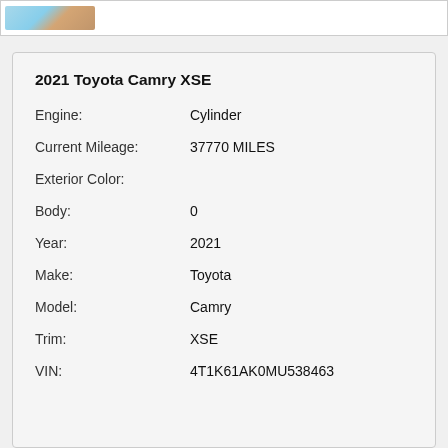[Figure (photo): Partial vehicle photo thumbnail strip at top of page]
2021 Toyota Camry XSE
| Field | Value |
| --- | --- |
| Engine: | Cylinder |
| Current Mileage: | 37770 MILES |
| Exterior Color: |  |
| Body: | 0 |
| Year: | 2021 |
| Make: | Toyota |
| Model: | Camry |
| Trim: | XSE |
| VIN: | 4T1K61AK0MU538463 |